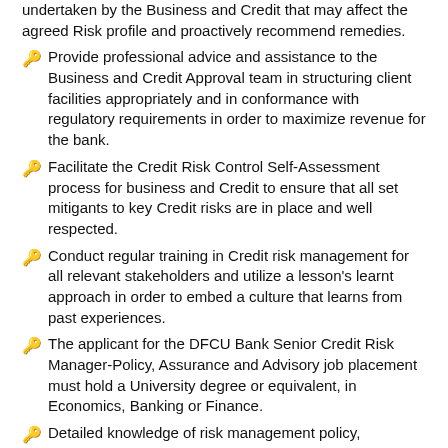undertaken by the Business and Credit that may affect the agreed Risk profile and proactively recommend remedies.
Provide professional advice and assistance to the Business and Credit Approval team in structuring client facilities appropriately and in conformance with regulatory requirements in order to maximize revenue for the bank.
Facilitate the Credit Risk Control Self-Assessment process for business and Credit to ensure that all set mitigants to key Credit risks are in place and well respected.
Conduct regular training in Credit risk management for all relevant stakeholders and utilize a lesson's learnt approach in order to embed a culture that learns from past experiences.
The applicant for the DFCU Bank Senior Credit Risk Manager-Policy, Assurance and Advisory job placement must hold a University degree or equivalent, in Economics, Banking or Finance.
Detailed knowledge of risk management policy, procedures & pricing.
Comprehensive technical credit skills with an ability to deal with top end Commercial lending proposals.
Knowledge on macro-economic and sector performance.
Good understanding of Financial lending products.
Keen attention to detail.